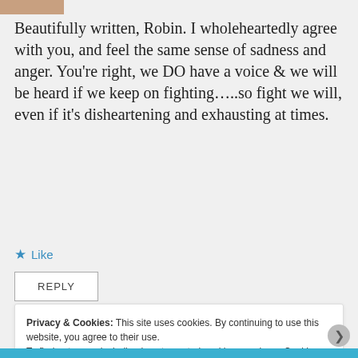[Figure (photo): Partial avatar/profile image strip at top left]
Beautifully written, Robin. I wholeheartedly agree with you, and feel the same sense of sadness and anger. You're right, we DO have a voice & we will be heard if we keep on fighting…..so fight we will, even if it's disheartening and exhausting at times.
★ Like
REPLY
Privacy & Cookies: This site uses cookies. By continuing to use this website, you agree to their use. To find out more, including how to control cookies, see here: Cookie Policy Close and accept